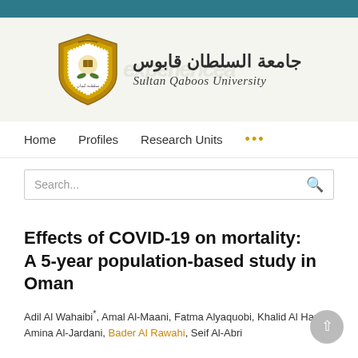[Figure (logo): Sultan Qaboos University shield logo with Arabic text جامعة السلطان قابوس and English text Sultan Qaboos University]
Home   Profiles   Research Units   ...
Effects of COVID-19 on mortality: A 5-year population-based study in Oman
Adil Al Wahaibi*, Amal Al-Maani, Fatma Alyaquobi, Khalid Al Harthy, Amina Al-Jardani, Bader Al Rawahi, Seif Al-Abri